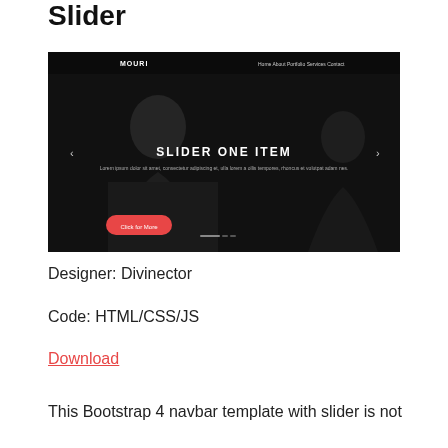Slider
[Figure (screenshot): Screenshot of a Bootstrap 4 navbar template with slider. Dark background showing a man's silhouette, center text reads 'SLIDER ONE ITEM' with Lorem ipsum subtitle, navigation arrows on sides, orange 'Click for More' button bottom left, and 'MOURI' logo top left with nav links top right.]
Designer: Divinector
Code: HTML/CSS/JS
Download
This Bootstrap 4 navbar template with slider is not